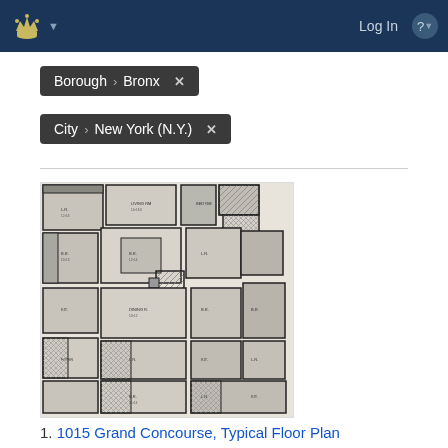Log In
Borough > Bronx ×
City > New York (N.Y.) ×
[Figure (schematic): Architectural floor plan showing a typical floor layout with multiple rooms, corridors, and staircases labeled with dimensions. Black and white plan drawing with hatched and shaded areas indicating different room types and structural elements.]
1. 1015 Grand Concourse, Typical Floor Plan